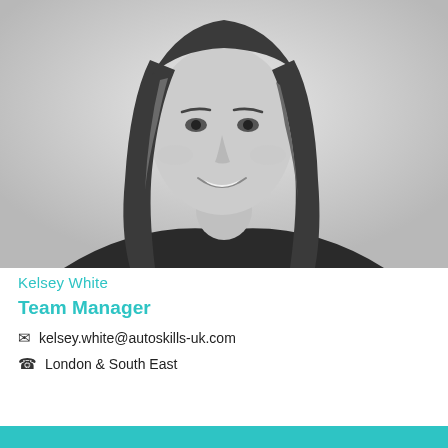[Figure (photo): Black and white professional headshot of Kelsey White, a woman with long straight dark hair, smiling, wearing a dark top, against a light grey background.]
Kelsey White
Team Manager
kelsey.white@autoskills-uk.com
London & South East